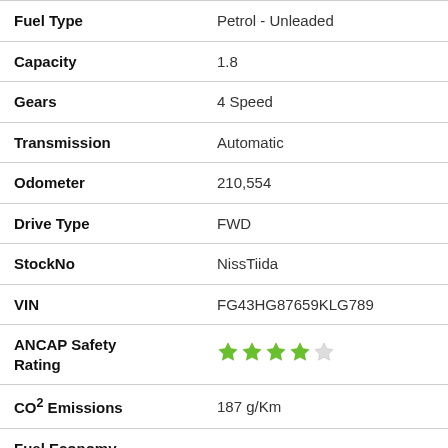| Field | Value |
| --- | --- |
| Fuel Type | Petrol - Unleaded |
| Capacity | 1.8 |
| Gears | 4 Speed |
| Transmission | Automatic |
| Odometer | 210,554 |
| Drive Type | FWD |
| StockNo | NissTiida |
| VIN | FG43HG87659KLG789 |
| ANCAP Safety Rating | ★★★★☆ (4 stars) |
| CO² Emissions | 187 g/Km |
| Fuel Economy (City) | 7.8 L/100Km |